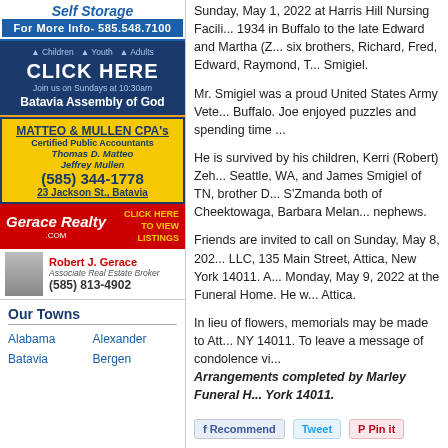[Figure (illustration): Self Storage advertisement with blue background, phone number 585.548.7100]
[Figure (illustration): Batavia Assembly of God church advertisement with Children, Youth, Adults icons, CLICK HERE, Join us on Sundays at 10:30am]
[Figure (illustration): MATTEO & MULLEN CPA's advertisement, Certified Public Accountants, Thomas D. Matteo, Jeffrey Mullen, (585) 344-1778, 23 Jackson St., Batavia]
[Figure (illustration): Gerace Realty advertisement with Robert J. Gerace, Associate Real Estate Broker, (585) 813-4902, CLICK HERE TO VIEW LISTINGS]
Our Towns
Alabama
Alexander
Batavia
Bergen
Sunday, May 1, 2022 at Harris Hill Nursing Facil... 1934 in Buffalo to the late Edward and Martha (Z... six brothers, Richard, Fred, Edward, Raymond, T... Smigiel.
Mr. Smigiel was a proud United States Army Vete... Buffalo. Joe enjoyed puzzles and spending time ...
He is survived by his children, Kerri (Robert) Zeh... Seattle, WA, and James Smigiel of TN, brother D... S'Zmanda both of Cheektowaga, Barbara Melan... nephews.
Friends are invited to call on Sunday, May 8, 202... LLC, 135 Main Street, Attica, New York 14011. A... Monday, May 9, 2022 at the Funeral Home. He w... Attica.
In lieu of flowers, memorials may be made to Att... NY 14011. To leave a message of condolence vi... Arrangements completed by Marley Funeral H... York 14011.